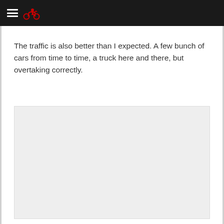The traffic is also better than I expected. A few bunch of cars from time to time, a truck here and there, but overtaking correctly.
[Figure (photo): A large light gray rectangular image placeholder area below the text]